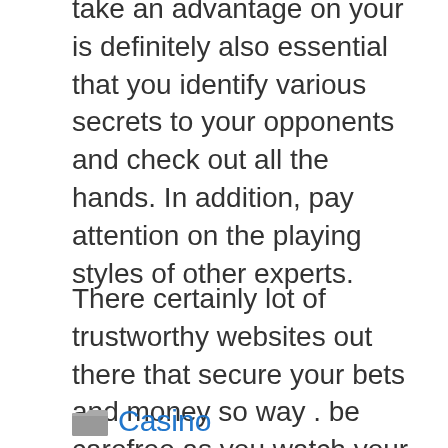take an advantage on your is definitely also essential that you identify various secrets to your opponents and check out all the hands. In addition, pay attention on the playing styles of other experts.
There certainly lot of trustworthy websites out there that secure your bets and money so way . be carefree as you watch your games. But you should be careful since betting involves money; there are nevertheless a lot of sites could scam you really. Try choosing the support that pals trust. It also be advised to check out their offers and services and equate to others before sticking to 1.
Casino